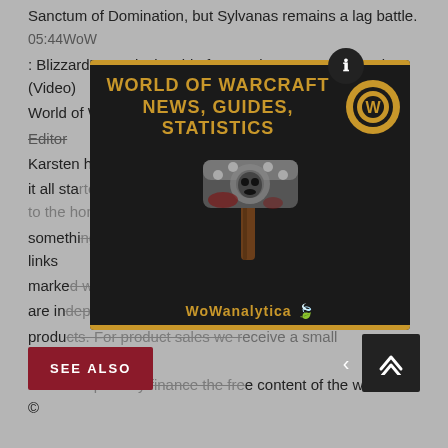Sanctum of Domination, but Sylvanas remains a lag battle. 05:44WoW : Blizzard's Survival Guide for Burning Crusade Classic (Video) World of Warcraft from€14.99 From Karsten Scholz Editor Karsten has been playing games his whole life, more since 2009 - it all started with WoW. Something missing in the article? to the home page. The links marked with * are affiliate links. Affiliate links are not ads, as we are independent in our reporting and selection of featured products. For product sales we receive a small commission, with which we partially finance the free content of the website. ©
[Figure (illustration): WoWAnalytica advertisement overlay showing 'World of Warcraft News, Guides, Statistics' with a WoW logo circle and a decorative hammer image, on a dark background with gold borders. Footer reads 'WoWAnalytica' with a leaf icon.]
SEE ALSO